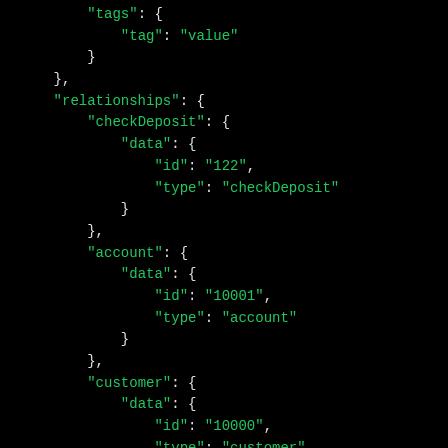JSON code snippet showing tags, relationships, checkDeposit, account, and customer objects with id and type fields